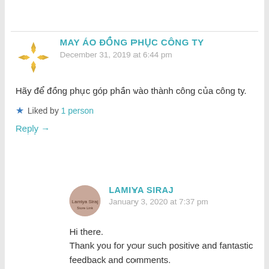MAY ÁO ĐỒNG PHỤC CÔNG TY
December 31, 2019 at 6:44 pm
Hãy để đồng phục góp phần vào thành công của công ty.
Liked by 1 person
Reply →
LAMIYA SIRAJ
January 3, 2020 at 7:37 pm
Hi there.
Thank you for your such positive and fantastic feedback and comments.